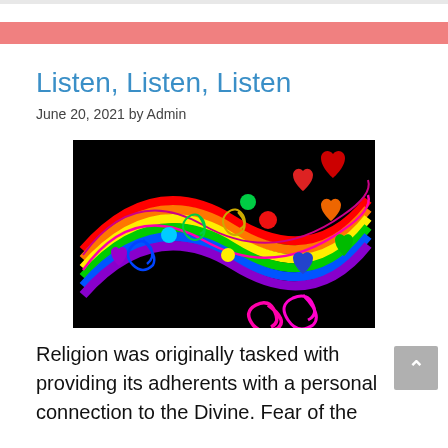Listen, Listen, Listen
June 20, 2021 by Admin
[Figure (illustration): Colorful illustration of a rainbow ribbon with musical swirls and glossy heart shapes in various colors (red, orange, green, blue, purple) on a black background]
Religion was originally tasked with providing its adherents with a personal connection to the Divine. Fear of the